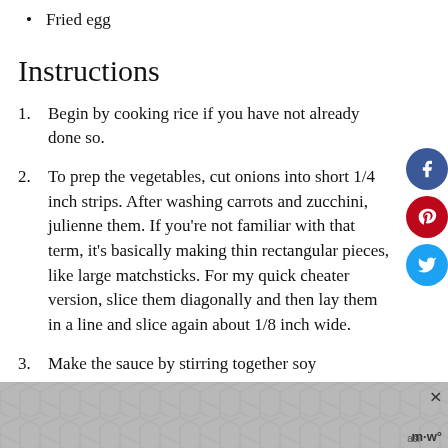Fried egg
Instructions
Begin by cooking rice if you have not already done so.
To prep the vegetables, cut onions into short 1/4 inch strips. After washing carrots and zucchini, julienne them. If you're not familiar with that term, it's basically making thin rectangular pieces, like large matchsticks. For my quick cheater version, slice them diagonally and then lay them in a line and slice again about 1/8 inch wide.
Make the sauce by stirring together soy